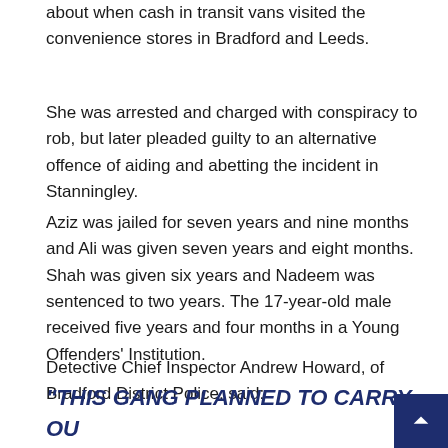about when cash in transit vans visited the convenience stores in Bradford and Leeds.
She was arrested and charged with conspiracy to rob, but later pleaded guilty to an alternative offence of aiding and abetting the incident in Stanningley.
Aziz was jailed for seven years and nine months and Ali was given seven years and eight months. Shah was given six years and Nadeem was sentenced to two years. The 17-year-old male received five years and four months in a Young Offenders' Institution.
Detective Chief Inspector Andrew Howard, of Bradford District Police, said:
“THIS GANG PLANNED TO CARRY OU A SERIES OF ROBBERIES ON CASH IN